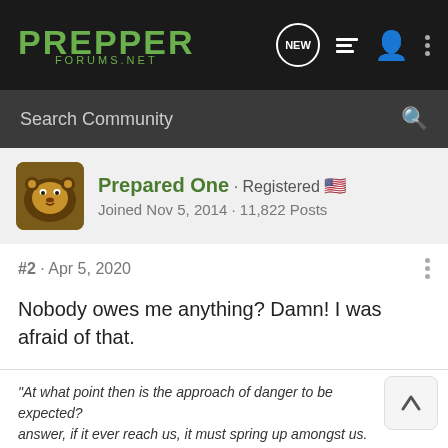PREPPER FORUMS.NET
Search Community
Prepared One · Registered
Joined Nov 5, 2014 · 11,822 Posts
#2 · Apr 5, 2020
Nobody owes me anything? Damn! I was afraid of that.
"At what point then is the approach of danger to be expected? answer, if it ever reach us, it must spring up amongst us. It
Slippy
[Figure (screenshot): Advertisement banner: FREE AMMO & MAGAZINE with purchase of a SIG SAUER P365 - LEARN MORE]